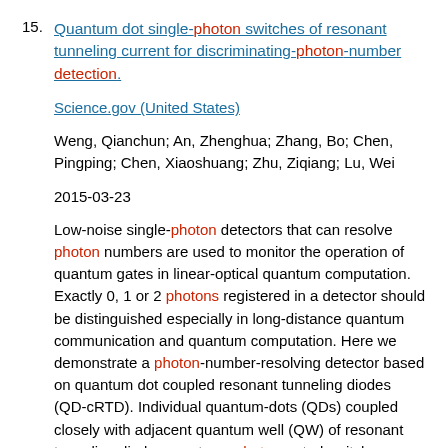15. Quantum dot single-photon switches of resonant tunneling current for discriminating-photon-number detection.
Science.gov (United States)
Weng, Qianchun; An, Zhenghua; Zhang, Bo; Chen, Pingping; Chen, Xiaoshuang; Zhu, Ziqiang; Lu, Wei
2015-03-23
Low-noise single-photon detectors that can resolve photon numbers are used to monitor the operation of quantum gates in linear-optical quantum computation. Exactly 0, 1 or 2 photons registered in a detector should be distinguished especially in long-distance quantum communication and quantum computation. Here we demonstrate a photon-number-resolving detector based on quantum dot coupled resonant tunneling diodes (QD-cRTD). Individual quantum-dots (QDs) coupled closely with adjacent quantum well (QW) of resonant tunneling diode operate as photon-gated switches- which turn on (off) the RTD tunneling current when they trap photon-generated holes (recombine with injected electrons). Proposed electron-injecting operation fills electrons into coupled QDs which turn "photon-